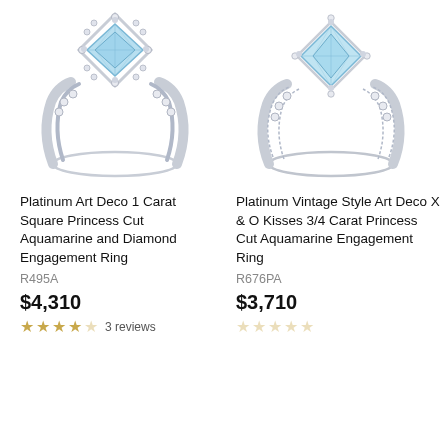[Figure (photo): Platinum Art Deco aquamarine and diamond engagement ring with princess cut center stone and channel-set diamonds on band, shown from top angle]
Platinum Art Deco 1 Carat Square Princess Cut Aquamarine and Diamond Engagement Ring
R495A
$4,310
★★★★☆ 3 reviews
[Figure (photo): Platinum Vintage Style Art Deco X & O Kisses aquamarine engagement ring with princess cut center stone and milgrain detailing on band, shown from top angle]
Platinum Vintage Style Art Deco X & O Kisses 3/4 Carat Princess Cut Aquamarine Engagement Ring
R676PA
$3,710
☆☆☆☆☆